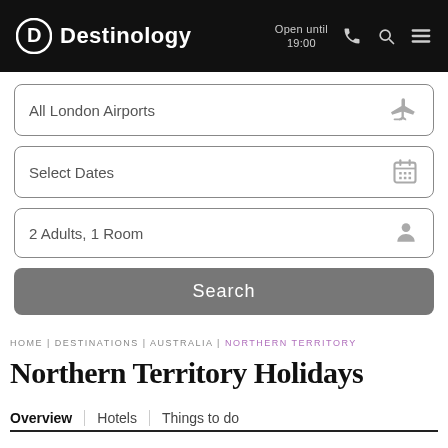[Figure (screenshot): Destinology website header with logo and navigation icons including phone, search, and menu. Shows 'Open until 19:00'.]
All London Airports
Select Dates
2 Adults, 1 Room
Search
HOME | DESTINATIONS | AUSTRALIA | NORTHERN TERRITORY
Northern Territory Holidays
Overview | Hotels | Things to do